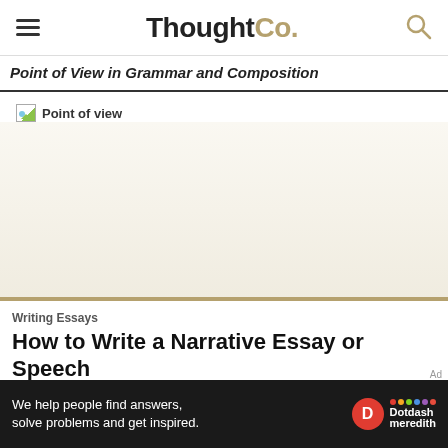ThoughtCo.
Point of View in Grammar and Composition
[Figure (photo): Broken image placeholder labeled 'Point of view']
Writing Essays
How to Write a Narrative Essay or Speech
[Figure (screenshot): Partial article image partially visible at bottom]
We help people find answers, solve problems and get inspired.
[Figure (logo): Dotdash Meredith logo with D circle and colored dots]